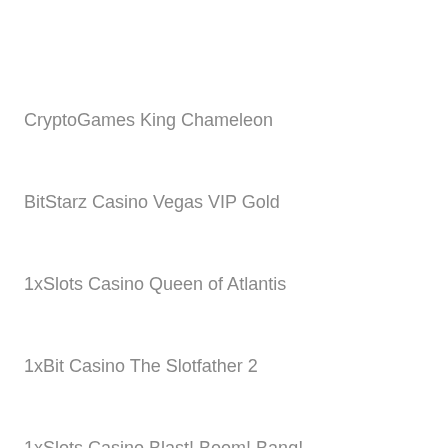CryptoGames King Chameleon
BitStarz Casino Vegas VIP Gold
1xSlots Casino Queen of Atlantis
1xBit Casino The Slotfather 2
1xSlots Casino Blast! Boom! Bang!
King Billy Casino Sweet Life